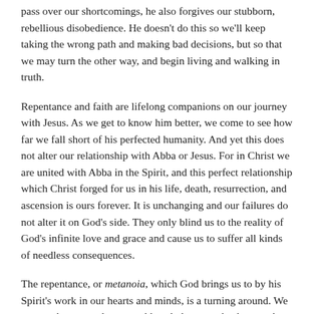pass over our shortcomings, he also forgives our stubborn, rebellious disobedience. He doesn't do this so we'll keep taking the wrong path and making bad decisions, but so that we may turn the other way, and begin living and walking in truth.
Repentance and faith are lifelong companions on our journey with Jesus. As we get to know him better, we come to see how far we fall short of his perfected humanity. And yet this does not alter our relationship with Abba or Jesus. For in Christ we are united with Abba in the Spirit, and this perfect relationship which Christ forged for us in his life, death, resurrection, and ascension is ours forever. It is unchanging and our failures do not alter it on God's side. They only blind us to the reality of God's infinite love and grace and cause us to suffer all kinds of needless consequences.
The repentance, or metanoia, which God brings us to by his Spirit's work in our hearts and minds, is a turning around. We turn so that we no longer stubbornly have our back towards Abba, but rather we are turned toward him in a face-to-face relationship which is our participation in Christ's perfect relationship with his Abba.